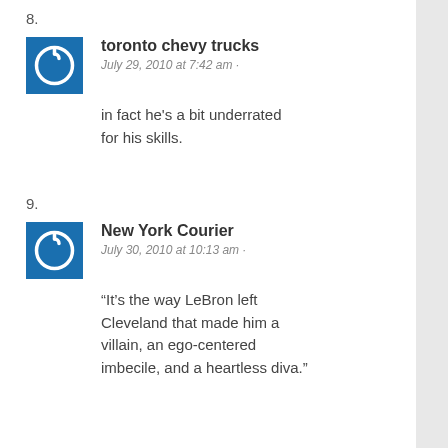8.
toronto chevy trucks
July 29, 2010 at 7:42 am ·
in fact he’s a bit underrated for his skills.
9.
New York Courier
July 30, 2010 at 10:13 am ·
“It’s the way LeBron left Cleveland that made him a villain, an ego-centered imbecile, and a heartless diva.”